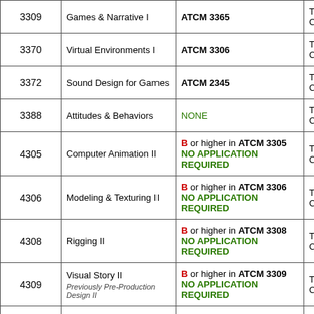| Course# | Course Name | Prerequisite | Format |
| --- | --- | --- | --- |
| 3309 | Games & Narrative I | ATCM 3365 | Traditional C… |
| 3370 | Virtual Environments I | ATCM 3306 | Traditional C… |
| 3372 | Sound Design for Games | ATCM 2345 | Traditional C… |
| 3388 | Attitudes & Behaviors | NONE | Traditional C… |
| 4305 | Computer Animation II | B or higher in ATCM 3305
NO APPLICATION REQUIRED | Traditional C… |
| 4306 | Modeling & Texturing II | B or higher in ATCM 3306
NO APPLICATION REQUIRED | Traditional C… |
| 4308 | Rigging II | B or higher in ATCM 3308
NO APPLICATION REQUIRED | Traditional C… |
| 4309 | Visual Story II
Previously Pre-Production Design II | B or higher in ATCM 3309
NO APPLICATION REQUIRED | Traditional C… |
|  |  | ATCM 3305, ATCM 3306, ATCM… | Traditional C… |